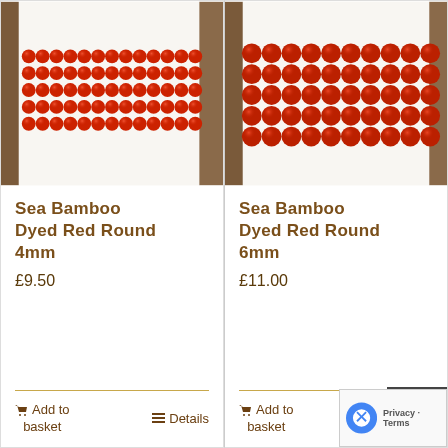[Figure (photo): Strands of small red round sea bamboo beads (4mm), arranged in parallel rows on white and brown background]
Sea Bamboo Dyed Red Round 4mm
£9.50
Add to basket
Details
[Figure (photo): Strands of larger red round sea bamboo beads (6mm), arranged in parallel rows on white and brown background]
Sea Bamboo Dyed Red Round 6mm
£11.00
Add to basket